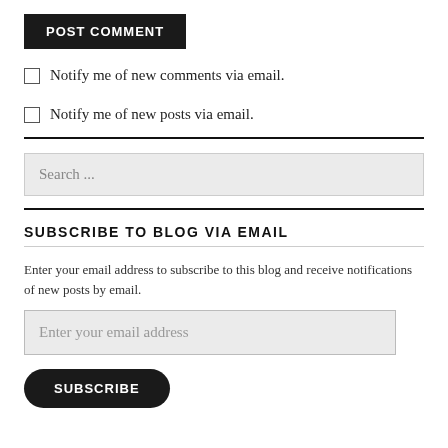POST COMMENT
Notify me of new comments via email.
Notify me of new posts via email.
Search ...
SUBSCRIBE TO BLOG VIA EMAIL
Enter your email address to subscribe to this blog and receive notifications of new posts by email.
Enter your email address
SUBSCRIBE